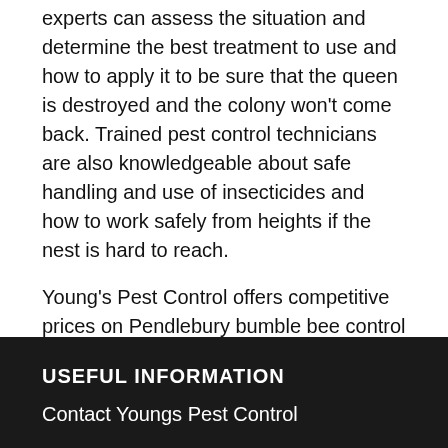experts can assess the situation and determine the best treatment to use and how to apply it to be sure that the queen is destroyed and the colony won't come back. Trained pest control technicians are also knowledgeable about safe handling and use of insecticides and how to work safely from heights if the nest is hard to reach.
Young's Pest Control offers competitive prices on Pendlebury bumble bee control treatments, combined with 24-hour availability and emergency service options - give them a call today
USEFUL INFORMATION
Contact Youngs Pest Control